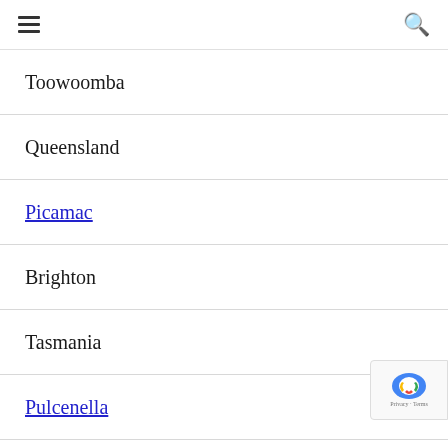[hamburger menu] [search icon]
Toowoomba
Queensland
Picamac
Brighton
Tasmania
Pulcenella
Bass